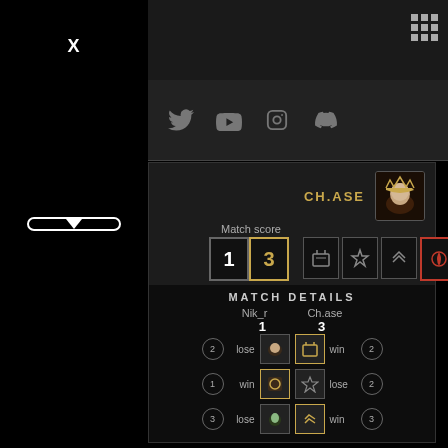X
[Figure (illustration): Dropdown button with downward arrow (top)]
[Figure (illustration): Social media icons: Twitter, YouTube, Instagram, Discord]
[Figure (illustration): Grid/menu icon in top right]
[Figure (illustration): Player avatar with crown decoration for CH.ASE]
CH.ASE
Match score
1  3
MATCH DETAILS
Nik_r   Ch.ase
1   3
2  lose  win  2
1  win   lose  2
3  lose  win  3
[Figure (illustration): Dropdown button with downward arrow (bottom)]